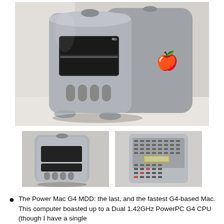[Figure (photo): Main photo of a Power Mac G4 MDD tower computer, silver/aluminum case, shown at an angle revealing the front with drive bays and bottom vents, and the right side with Apple logo.]
[Figure (photo): Thumbnail: front view of Power Mac G4 MDD tower, showing drive bays and bottom vents.]
[Figure (photo): Thumbnail: rear panel / bottom of Power Mac G4 MDD showing ports, slots, and a highlighted label sticker.]
The Power Mac G4 MDD: the last, and the fastest G4-based Mac. This computer boasted up to a Dual 1.42GHz PowerPC G4 CPU (though I have a single